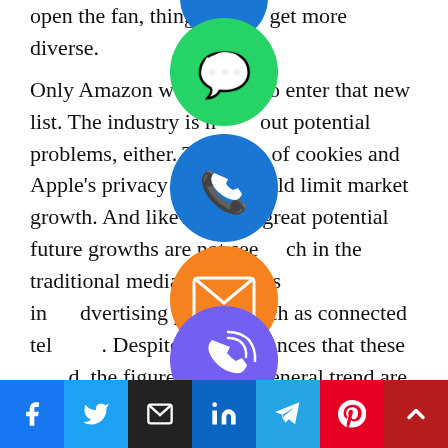open the fan, things get more diverse. Only Amazon would to enter that new list. The industry is not without potential problems, either. The of cookies and Apple's privacy man could limit market growth. And likewise, the great potential future growths are not seen ch in the traditional media industry as in dvertising players, such as connected television. Despite all the nuances that these , the figures and the general trend are interesting. They show that, as much as sub on models grow and as much as consum e ads, they are not destined to disappear. Advertising continues.
[Figure (illustration): Social media share buttons bar at the bottom: Facebook (blue), Twitter (blue), Email (black), LinkedIn (blue), Telegram (blue), Pinterest (red), Up/scroll (red). Plus overlaid social sharing icons: WhatsApp (green), Phone (blue), Email (orange), LINE (green), Viber (purple), and a close/X button (green).]